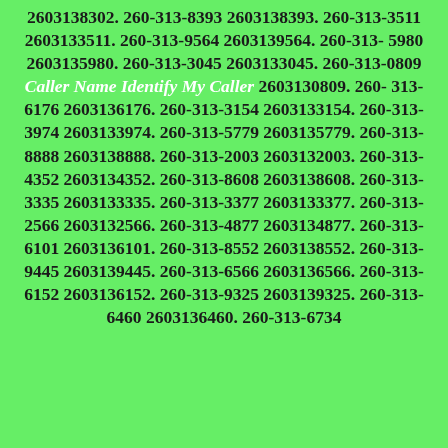2603138302. 260-313-8393 2603138393. 260-313-3511 2603133511. 260-313-9564 2603139564. 260-313-5980 2603135980. 260-313-3045 2603133045. 260-313-0809 Caller Name Identify My Caller 2603130809. 260-313-6176 2603136176. 260-313-3154 2603133154. 260-313-3974 2603133974. 260-313-5779 2603135779. 260-313-8888 2603138888. 260-313-2003 2603132003. 260-313-4352 2603134352. 260-313-8608 2603138608. 260-313-3335 2603133335. 260-313-3377 2603133377. 260-313-2566 2603132566. 260-313-4877 2603134877. 260-313-6101 2603136101. 260-313-8552 2603138552. 260-313-9445 2603139445. 260-313-6566 2603136566. 260-313-6152 2603136152. 260-313-9325 2603139325. 260-313-6460 2603136460. 260-313-6734